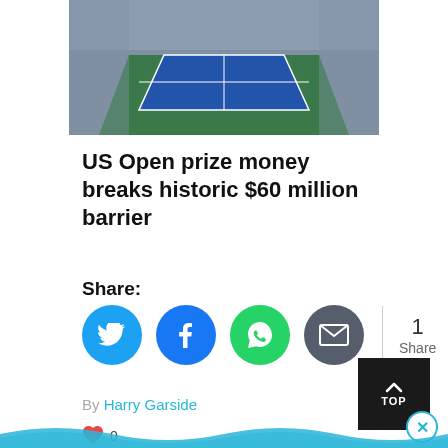[Figure (photo): Aerial view of a packed tennis stadium with a blue court, crowd filling all seats, US Open venue]
US Open prize money breaks historic $60 million barrier
Share:
[Figure (infographic): Social share buttons: Twitter (blue), Facebook (dark blue), WhatsApp (green), Email (dark grey), with share count of 1]
By Harry Garside
[Figure (illustration): Blue wave decoration bar at bottom of page]